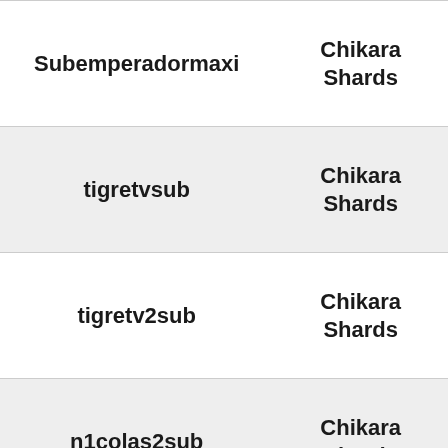|  |  |
| --- | --- |
| Subemperadormaxi | Chikara Shards |
| tigretvsub | Chikara Shards |
| tigretv2sub | Chikara Shards |
| n1colas2sub | Chikara Shards |
| subtofrangoforchikara | Chikara Shards |